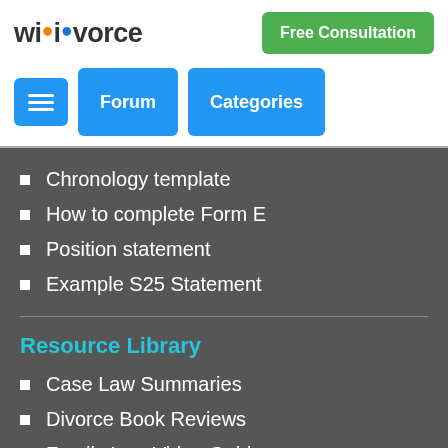wikivorce | Free Consultation
Chronology template
How to complete Form E
Position statement
Example S25 Statement
Resource Library
Case Law Summaries
Divorce Book Reviews
Family Law Video Guides
Divorce Glossary